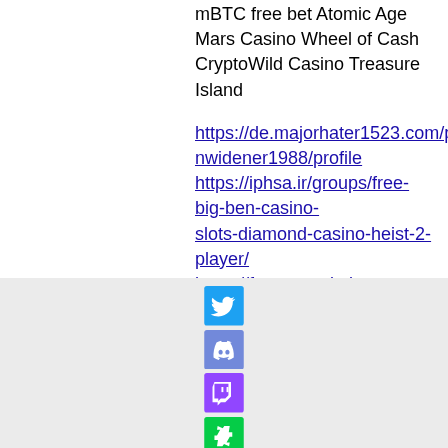mBTC free bet Atomic Age
Mars Casino Wheel of Cash
CryptoWild Casino Treasure Island
https://de.majorhater1523.com/profile/shavonwidener1988/profile https://iphsa.ir/groups/free-big-ben-casino-slots-diamond-casino-heist-2-player/ https://forum.genital-clinic.ru/community/profile/casinobtc12357139/ https://www.skeivtkristentnettverk.no/profile/juanwittkopp1996/profile
[Figure (infographic): Social media icons: Twitter (blue bird icon), Discord (white controller icon on purple), Twitch (white glitch icon on purple), DeviantArt (green lightning bolt on black)]